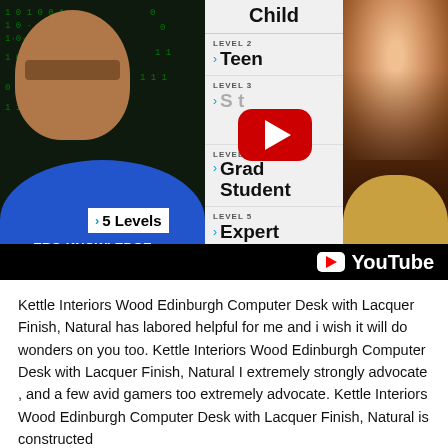[Figure (screenshot): YouTube video thumbnail showing 'Zero-Knowledge Proof explained in 5 Levels' with a man on the left against a matrix background with '5 Levels' badge and 'ERO-KNOWLEDGE PROOF' text, a center panel with level labels (Child, Teen, Level 3 hidden by play button, Grad Student, Expert), a YouTube play button overlay, and a young girl on the right. YouTube branding in bottom right.]
Kettle Interiors Wood Edinburgh Computer Desk with Lacquer Finish, Natural has labored helpful for me and i wish it will do wonders on you too. Kettle Interiors Wood Edinburgh Computer Desk with Lacquer Finish, Natural I extremely strongly advocate , and a few avid gamers too extremely advocate. Kettle Interiors Wood Edinburgh Computer Desk with Lacquer Finish, Natural is constructed